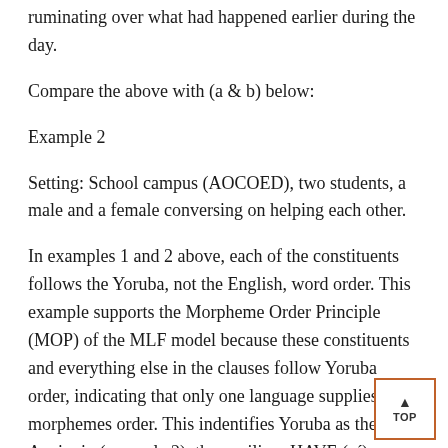ruminating over what had happened earlier during the day.
Compare the above with (a & b) below:
Example 2
Setting: School campus (AOCOED), two students, a male and a female conversing on helping each other.
In examples 1 and 2 above, each of the constituents follows the Yoruba, not the English, word order. This example supports the Morpheme Order Principle (MOP) of the MLF model because these constituents and everything else in the clauses follow Yoruba order, indicating that only one language supplies morphemes order. This indentifies Yoruba as the ML. Again, in (example 2), the auxiliary HAVE (ní) showing possession comes from Yoruba and more significantly this